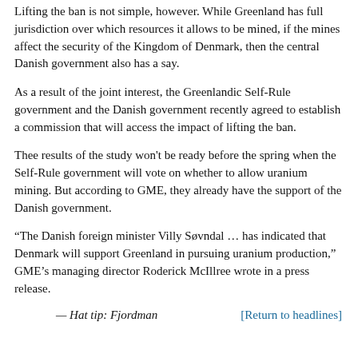Lifting the ban is not simple, however. While Greenland has full jurisdiction over which resources it allows to be mined, if the mines affect the security of the Kingdom of Denmark, then the central Danish government also has a say.
As a result of the joint interest, the Greenlandic Self-Rule government and the Danish government recently agreed to establish a commission that will access the impact of lifting the ban.
Thee results of the study won't be ready before the spring when the Self-Rule government will vote on whether to allow uranium mining. But according to GME, they already have the support of the Danish government.
“The Danish foreign minister Villy Søvndal … has indicated that Denmark will support Greenland in pursuing uranium production,” GME’s managing director Roderick McIllree wrote in a press release.
— Hat tip: Fjordman
[Return to headlines]